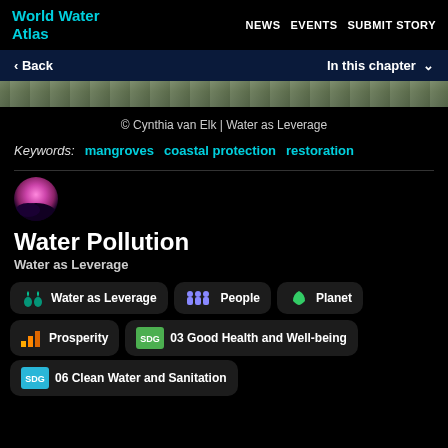World Water Atlas | NEWS EVENTS SUBMIT STORY
< Back | In this chapter ∨
[Figure (photo): Landscape/nature image strip (mangroves or coastal scene)]
© Cynthia van Elk | Water as Leverage
Keywords: mangroves  coastal protection  restoration
[Figure (illustration): Circular chapter icon with pink/purple gradient]
Water Pollution
Water as Leverage
Water as Leverage  People  Planet  Prosperity  03 Good Health and Well-being  06 Clean Water and Sanitation